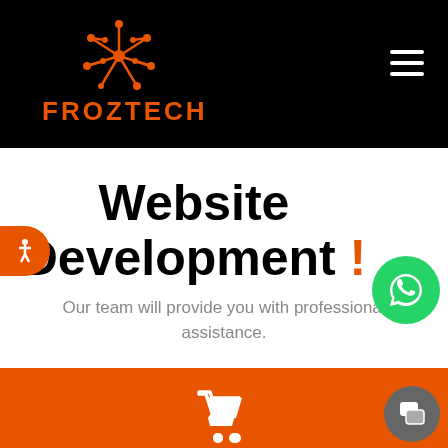[Figure (logo): Froztech logo: orange spider/network icon above orange text FROZTECH on black background]
Website Development !
Our team will provide you with professional assistance.
[Figure (illustration): Orange background section with white shopping cart icon at bottom]